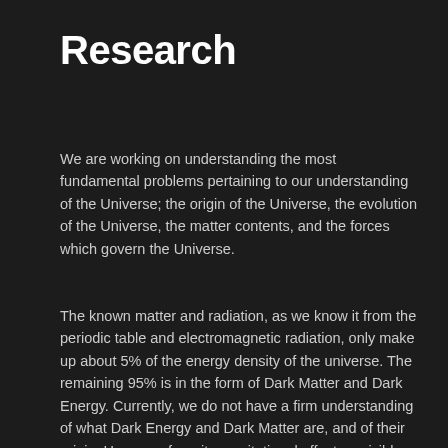Research
We are working on understanding the most fundamental problems pertaining to our understanding of the Universe; the origin of the Universe, the evolution of the Universe, the matter contents, and the forces which govern the Universe.
The known matter and radiation, as we know it from the periodic table and electromagnetic radiation, only make up about 5% of the energy density of the universe. The remaining 95% is in the form of Dark Matter and Dark Energy. Currently, we do not have a firm understanding of what Dark Energy and Dark Matter are, and of their origin. However, from its gravitational effect on visible matter, we know this dark sector of Dark Energy and Dark matter exists, and makes up most of the energy density in the universe. In order to understand our Universe, we want to understand the dark sector.